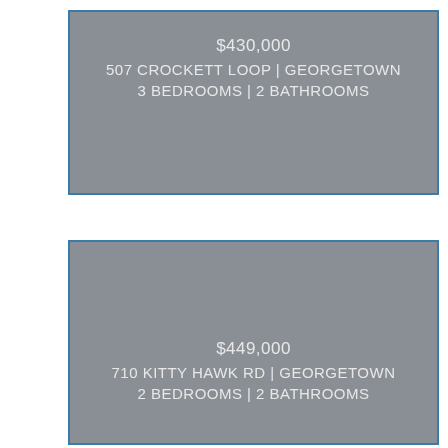[Figure (photo): Property listing card showing $430,000 home at 507 Crockett Loop, Georgetown with 3 bedrooms and 2 bathrooms. Gray placeholder image with blue border.]
[Figure (photo): Property listing card showing $449,000 home at 710 Kitty Hawk Rd, Georgetown with 2 bedrooms and 2 bathrooms. Gray placeholder image with blue border.]